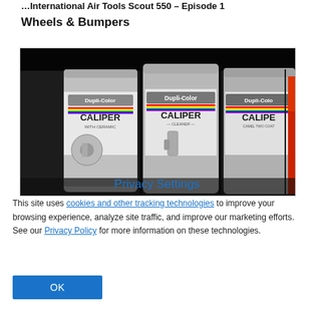International Air Tools Scout 550 - Episode 1 Wheels & Bumpers
[Figure (photo): Photo of three Dupli-Color Caliper spray cans (one labeled 'Caliper with ceramic', one 'Caliper Cleaner', one 'Caliper') arranged on a dark shelf, with a partial fourth product visible on the right.]
Privacy Settings
This site uses cookies and other tracking technologies to improve your browsing experience, analyze site traffic, and improve our marketing efforts. See our Privacy Policy for more information on these technologies.
OK